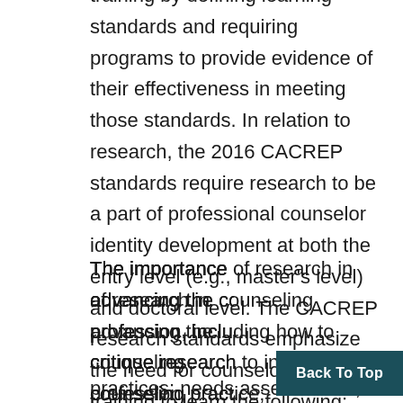training by defining learning standards and requiring programs to provide evidence of their effectiveness in meeting those standards. In relation to research, the 2016 CACREP standards require research to be a part of professional counselor identity development at both the entry level (e.g., master's level) and doctoral level. The CACREP research standards emphasize the need for counselors-in-training to learn the following:
The importance of research in advancing the counseling profession, including how to critique research to inform counseling practice; identification of evidence-based counseling practices; needs assessments; development of